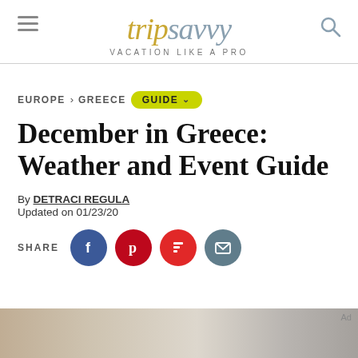trip savvy — VACATION LIKE A PRO
EUROPE > GREECE  GUIDE
December in Greece: Weather and Event Guide
By DETRACI REGULA
Updated on 01/23/20
SHARE
[Figure (screenshot): Bottom image strip with 'Ad' label]